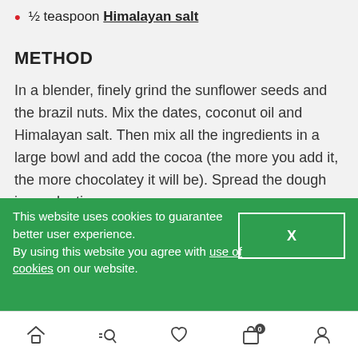½ teaspoon Himalayan salt
METHOD
In a blender, finely grind the sunflower seeds and the brazil nuts. Mix the dates, coconut oil and Himalayan salt. Then mix all the ingredients in a large bowl and add the cocoa (the more you add it, the more chocolatey it will be). Spread the dough in a cake tin and place in the freezer to harden.
Filling 1: Blend the ingredients till smooth. Add coconut flour if too runny.
Filling 2: Blend the ingredients till smooth. Add coconut flour if too runny.
Take the base out of the freezer. Add the first filling on
This website uses cookies to guarantee better user experience. By using this website you agree with use of cookies on our website.
[Figure (screenshot): Mobile website bottom navigation bar with home, search, heart/wishlist, bag with 0 badge, and user/account icons]